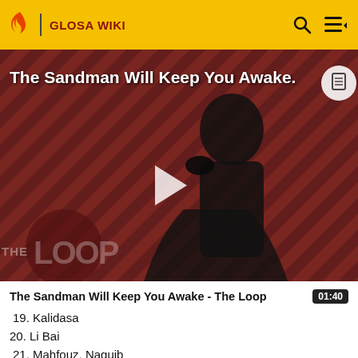GLOSA WIKI
[Figure (screenshot): Video thumbnail for 'The Sandman Will Keep You Awake - The Loop' showing a figure in black with diagonal stripe background and The Loop logo]
The Sandman Will Keep You Awake - The Loop
01:40
19. Kalidasa
20. Li Bai
21. Mahfouz, Naguib
22. Molière